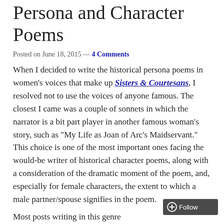Persona and Character Poems
Posted on June 18, 2015 — 4 Comments
When I decided to write the historical persona poems in women's voices that make up Sisters & Courtesans, I resolved not to use the voices of anyone famous. The closest I came was a couple of sonnets in which the narrator is a bit part player in another famous woman's story, such as "My Life as Joan of Arc's Maidservant." This choice is one of the most important ones facing the would-be writer of historical character poems, along with a consideration of the dramatic moment of the poem, and, especially for female characters, the extent to which a male partner/spouse signifies in the poem.
Most posts writing in this genre...